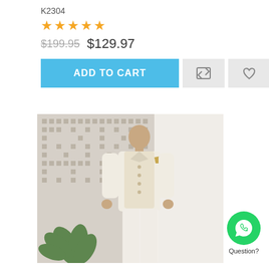K2304
★★★★★
$199.95  $129.97
ADD TO CART
[Figure (photo): Man wearing cream/off-white traditional South Asian outfit (kurta with waistcoat), standing in front of a decorative geometric patterned wall with a plant nearby]
Question?